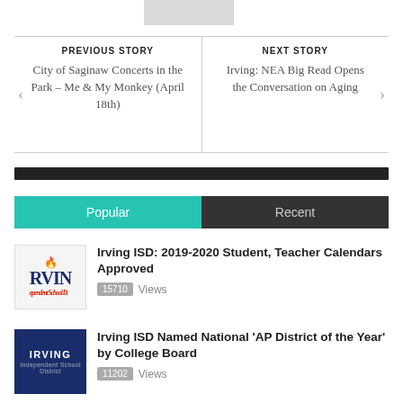[Figure (other): Gray placeholder image rectangle at top]
PREVIOUS STORY
City of Saginaw Concerts in the Park – Me & My Monkey (April 18th)
NEXT STORY
Irving: NEA Big Read Opens the Conversation on Aging
Popular
Recent
[Figure (logo): Irving ISD partial logo with flame icon and text 'RVIN', 'Independent School D']
Irving ISD: 2019-2020 Student, Teacher Calendars Approved
15710 Views
[Figure (logo): Irving ISD dark blue logo box with 'IRVING' text]
Irving ISD Named National 'AP District of the Year' by College Board
11202 Views